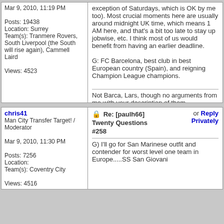Mar 9, 2010, 11:19 PM

Posts: 19438
Location: Surrey
Team(s): Tranmere Rovers, South Liverpool (the South will rise again), Cammell Laird

Views: 4523
exception of Saturdays, which is OK by me too). Most crucial moments here are usually around midnight UK time, which means 1 AM here, and that's a bit too late to stay up jobwise, etc. I think most of us would benefit from having an earlier deadline.

G: FC Barcelona, best club in best European country (Spain), and reigning Champion League champions.

Not Barca, Lars, though no arguments from me with your description of them
chris41
Man City Transfer Target! / Moderator

Mar 9, 2010, 11:30 PM

Posts: 7256
Location:
Team(s): Coventry City

Views: 4516
Re: [paulh66] Twenty Questions #258

G) I'll go for San Marinese outfit and contender for worst level one team in Europe.....SS San Giovani